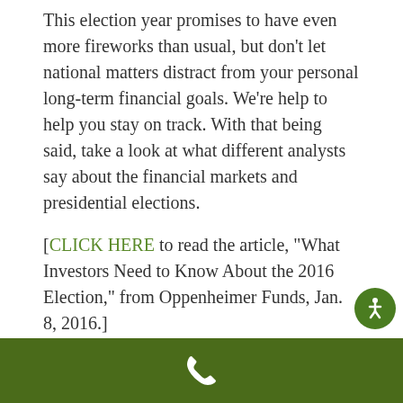This election year promises to have even more fireworks than usual, but don't let national matters distract from your personal long-term financial goals. We're help to help you stay on track. With that being said, take a look at what different analysts say about the financial markets and presidential elections.
[CLICK HERE to read the article, "What Investors Need to Know About the 2016 Election," from Oppenheimer Funds, Jan. 8, 2016.]
[CLICK HERE to read the article, "How Do
[Figure (other): Green circular accessibility icon button with a person/wheelchair symbol in white]
Phone icon on dark green footer bar